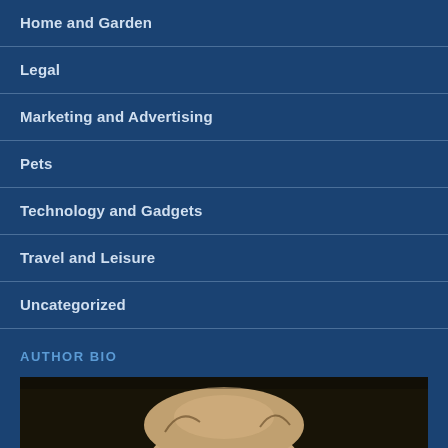Home and Garden
Legal
Marketing and Advertising
Pets
Technology and Gadgets
Travel and Leisure
Uncategorized
AUTHOR BIO
[Figure (photo): Author headshot photo, partially visible, showing top of a bald/balding man's head with dark background]